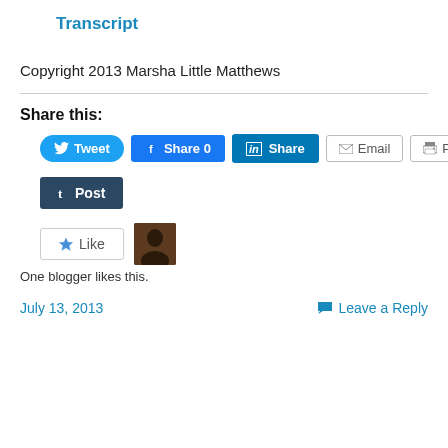Transcript
Copyright 2013 Marsha Little Matthews
Share this:
[Figure (infographic): Social share buttons: Tweet, Share 0 (Facebook), Share (LinkedIn), Email, Print; Tumblr Post button; Like button with avatar; 'One blogger likes this.' text]
One blogger likes this.
July 13, 2013
Leave a Reply